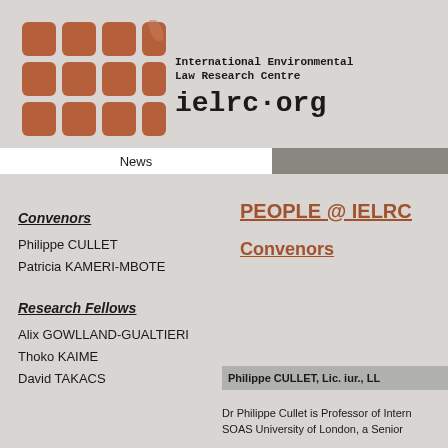[Figure (logo): IELRC logo: a 3x3 grid of rounded squares in terracotta/brown color with a leaf on the top-right element, plus text 'International Environmental Law Research Centre' and 'ielrc.org']
News
Convenors
Philippe CULLET
Patricia KAMERI-MBOTE
PEOPLE @ IELRC
Convenors
Research Fellows
Alix GOWLLAND-GUALTIERI
Thoko KAIME
David TAKACS
Philippe CULLET, Lic. iur., LL
Dr Philippe Cullet is Professor of Intern SOAS University of London, a Senior